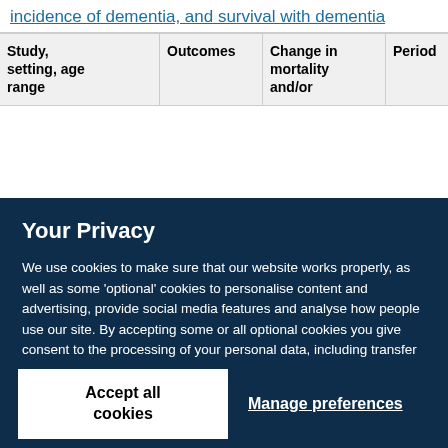incidence of dementia, and survival with dementia
| Study, setting, age range | Outcomes | Change in mortality and/or | Period | Interval (years) | Other findings |
| --- | --- | --- | --- | --- | --- |
Your Privacy
We use cookies to make sure that our website works properly, as well as some 'optional' cookies to personalise content and advertising, provide social media features and analyse how people use our site. By accepting some or all optional cookies you give consent to the processing of your personal data, including transfer to third parties, some in countries outside of the European Economic Area that do not offer the same data protection standards as the country where you live. You can decide which optional cookies to accept by clicking on 'Manage Settings', where you can also find more information about how your personal data is processed. Further information can be found in our privacy policy.
Accept all cookies
Manage preferences